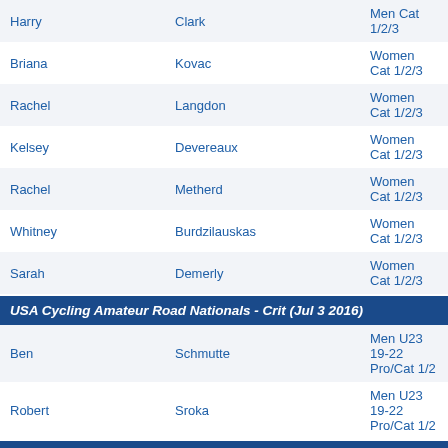| First | Last | Category |
| --- | --- | --- |
| Harry | Clark | Men Cat 1/2/3 |
| Briana | Kovac | Women Cat 1/2/3 |
| Rachel | Langdon | Women Cat 1/2/3 |
| Kelsey | Devereaux | Women Cat 1/2/3 |
| Rachel | Metherd | Women Cat 1/2/3 |
| Whitney | Burdzilauskas | Women Cat 1/2/3 |
| Sarah | Demerly | Women Cat 1/2/3 |
USA Cycling Amateur Road Nationals - Crit (Jul 3 2016)
| First | Last | Category |
| --- | --- | --- |
| Ben | Schmutte | Men U23 19-22 Pro/Cat 1/2 |
| Robert | Sroka | Men U23 19-22 Pro/Cat 1/2 |
USA Cycling Amateur Road Nationals - RR (Jul 1 2016)
| First | Last | Category |
| --- | --- | --- |
| Robert | Sroka | Men U23 19-22 Pro/Cat 1/2 |
| Kirk | Albers | Men Cat 1 |
| Paul | Martin | Men Cat 1 |
| Ryan | Knapp | Men Cat 1 |
USA Cycling Amateur Road Nationals - TT (Jun 30 2016)